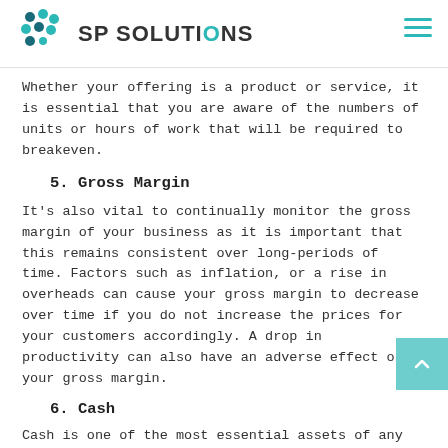SP SOLUTIONS
Whether your offering is a product or service, it is essential that you are aware of the numbers of units or hours of work that will be required to breakeven.
5. Gross Margin
It's also vital to continually monitor the gross margin of your business as it is important that this remains consistent over long-periods of time. Factors such as inflation, or a rise in overheads can cause your gross margin to decrease over time if you do not increase the prices for your customers accordingly. A drop in productivity can also have an adverse effect on your gross margin.
6. Cash
Cash is one of the most essential assets of any business. It is fundamental to know how much cash